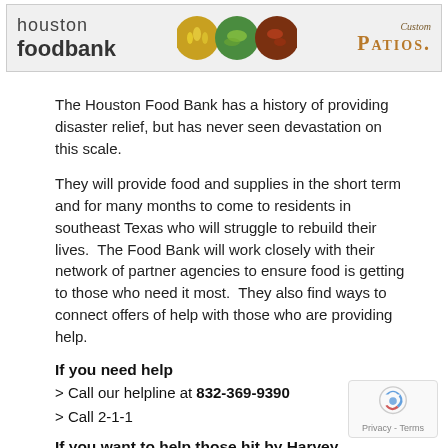[Figure (illustration): Houston Food Bank banner advertisement with logo on left, food images in center circles, and Custom Patios text on right]
The Houston Food Bank has a history of providing disaster relief, but has never seen devastation on this scale.
They will provide food and supplies in the short term and for many months to come to residents in southeast Texas who will struggle to rebuild their lives.  The Food Bank will work closely with their network of partner agencies to ensure food is getting to those who need it most.  They also find ways to connect offers of help with those who are providing help.
If you need help
> Call our helpline at 832-369-9390
> Call 2-1-1
If you want to help those hit by Harvey